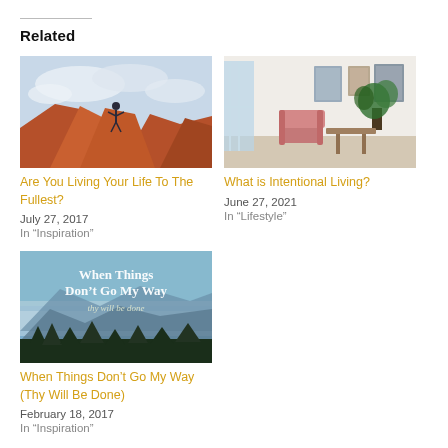Related
[Figure (photo): Person standing on red rocks with arms raised against a cloudy sky]
Are You Living Your Life To The Fullest?
July 27, 2017
In “Inspiration”
[Figure (photo): Bright living room interior with pink chair, plant, framed art on wall]
What is Intentional Living?
June 27, 2021
In “Lifestyle”
[Figure (photo): Blue misty mountain landscape with text overlay: When Things Don’t Go My Way, thy will be done]
When Things Don’t Go My Way (Thy Will Be Done)
February 18, 2017
In “Inspiration”